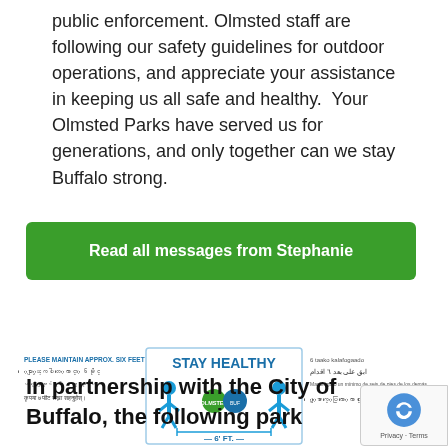public enforcement. Olmsted staff are following our safety guidelines for outdoor operations, and appreciate your assistance in keeping us all safe and healthy.  Your Olmsted Parks have served us for generations, and only together can we stay Buffalo strong.
Read all messages from Stephanie
[Figure (infographic): Stay Healthy social distancing infographic showing two figures standing 6 feet apart with text in multiple languages including English, Burmese, Arabic, Spanish, and Nepali. Center shows 'STAY HEALTHY' with Olmsted Parks and Buffalo city logos and '6 FT.' measurement.]
In partnership with the City of Buffalo, the following park